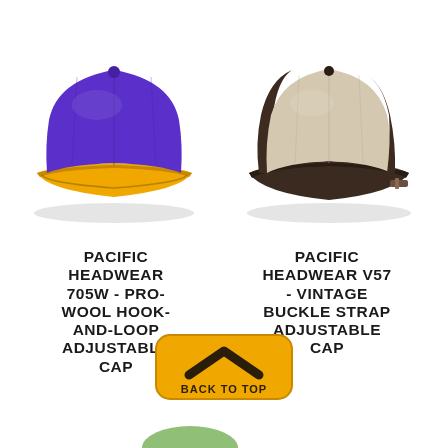[Figure (photo): Purple baseball cap with yellow brim - Pacific Headwear 705W Pro-Wool Hook-and-Loop Adjustable Cap]
[Figure (photo): Two-tone cap with beige/stone crown and dark brown brim - Pacific Headwear V57 Vintage Buckle Strap Adjustable Cap]
PACIFIC HEADWEAR 705W - PRO-WOOL HOOK-AND-LOOP ADJUSTABLE CAP
PACIFIC HEADWEAR V57 - VINTAGE BUCKLE STRAP ADJUSTABLE CAP
[Figure (illustration): Back to Top button - yellow rounded rectangle with dark chevron/arrow up icon and text BACK TO TOP]